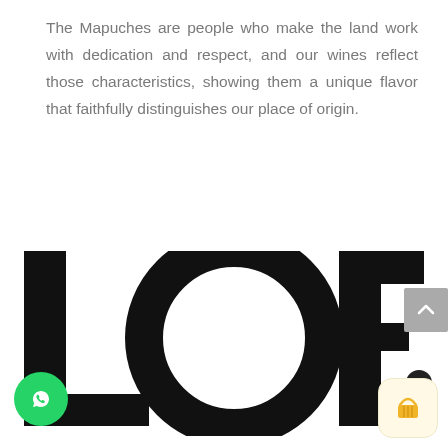The Mapuches are people who make the land work with dedication and respect, and our wines reflect those characteristics, showing them a unique flavor that faithfully distinguishes our place of origin.
[Figure (logo): Large black bold wordmark reading 'LOF.' with very thick sans-serif letters; the O is a large ring/circle shape]
[Figure (other): Gray scroll-to-top button with an upward-pointing chevron arrow, positioned at right edge]
[Figure (other): Green circular WhatsApp button with white phone/chat icon, bottom left]
[Figure (other): Shopping cart button, rounded square with light yellow background, yellow basket icon, black badge showing '0']